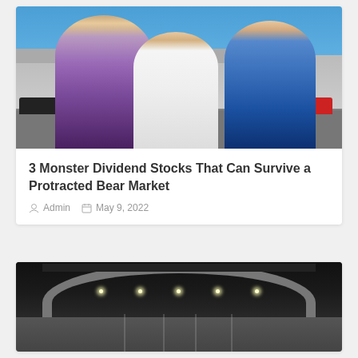[Figure (photo): A happy family (woman, young girl, man) with arms raised in a parking lot area with cars, clear blue sky background]
3 Monster Dividend Stocks That Can Survive a Protracted Bear Market
Admin   May 9, 2022
[Figure (photo): Interior view of a stadium or arena showing curved ceiling, arch structure, hanging lights and curtains]